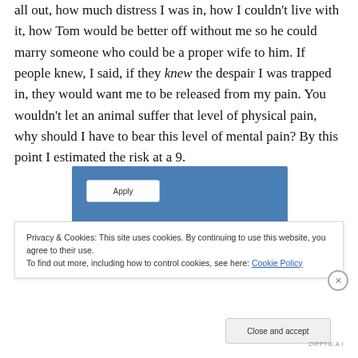all out, how much distress I was in, how I couldn't live with it, how Tom would be better off without me so he could marry someone who could be a proper wife to him. If people knew, I said, if they knew the despair I was trapped in, they would want me to be released from my pain. You wouldn't let an animal suffer that level of physical pain, why should I have to bear this level of mental pain? By this point I estimated the risk at a 9.
[Figure (screenshot): Blue UI box with an Apply button (white rounded rectangle)]
Privacy & Cookies: This site uses cookies. By continuing to use this website, you agree to their use.
To find out more, including how to control cookies, see here: Cookie Policy
Close and accept